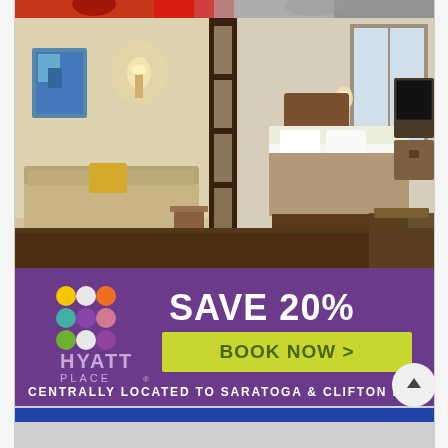[Figure (photo): Cropped top portion of a sports/event image showing partial figures in red and white]
[Figure (photo): Hyatt Place hotel room interior advertisement showing a suite with sitting area and bedroom visible through glass partition, with purple banner below showing SAVE 20% offer and BOOK NOW button, text reads CENTRALLY LOCATED TO SARATOGA & CLIFTON PARK]